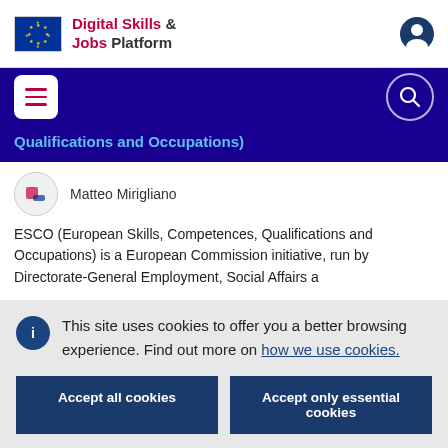Digital Skills & Jobs Platform
Qualifications and Occupations)
Matteo Mirigliano
ESCO (European Skills, Competences, Qualifications and Occupations) is a European Commission initiative, run by Directorate-General Employment, Social Affairs and...
This site uses cookies to offer you a better browsing experience. Find out more on how we use cookies.
Accept all cookies
Accept only essential cookies